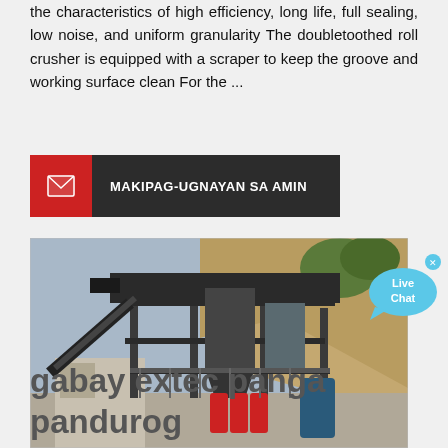the characteristics of high efficiency, long life, full sealing, low noise, and uniform granularity The doubletoothed roll crusher is equipped with a scraper to keep the groove and working surface clean For the ...
[Figure (infographic): Dark banner with red mail icon on left and bold white text 'MAKIPAG-UGNAYAN SA AMIN' on dark background]
[Figure (photo): Outdoor industrial mining/crushing plant with conveyor belts, metal scaffolding, silos, and crusher equipment against rocky hillside backdrop]
gabay extec panga pandurog